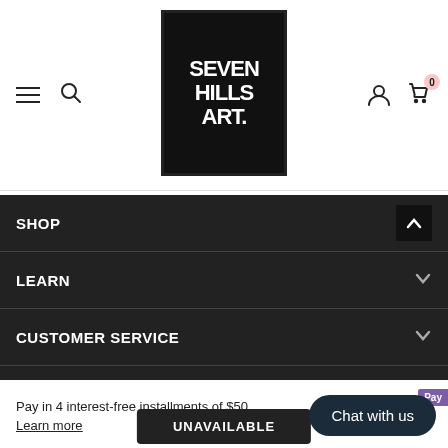[Figure (logo): Seven Hills Art logo — black square with white handwritten-style text reading SEVEN HILLS ART.]
SHOP
LEARN
CUSTOMER SERVICE
Pay in 4 interest-free installments of $50
Learn more
UNAVAILABLE
Chat with us